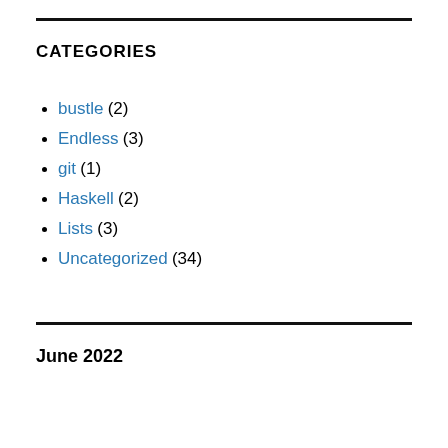CATEGORIES
bustle (2)
Endless (3)
git (1)
Haskell (2)
Lists (3)
Uncategorized (34)
June 2022
| M | T | W | T | F | S | S |
| --- | --- | --- | --- | --- | --- | --- |